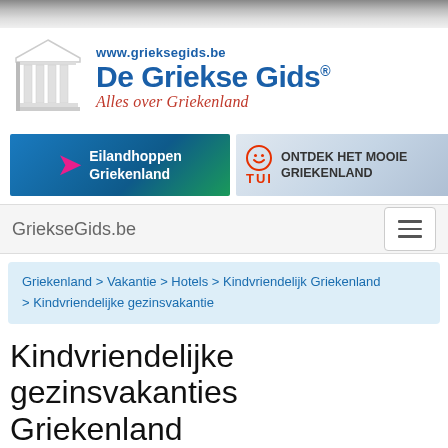[Figure (logo): De Griekse Gids logo with Greek temple icon, URL www.grieksegids.be, tagline Alles over Griekenland]
[Figure (infographic): Two advertisement banners: Eilandhoppen Griekenland and TUI - Ontdek het mooie Griekenland]
GriekseGids.be
Griekenland > Vakantie > Hotels > Kindvriendelijk Griekenland > Kindvriendelijke gezinsvakantie
Kindvriendelijke gezinsvakanties Griekenland